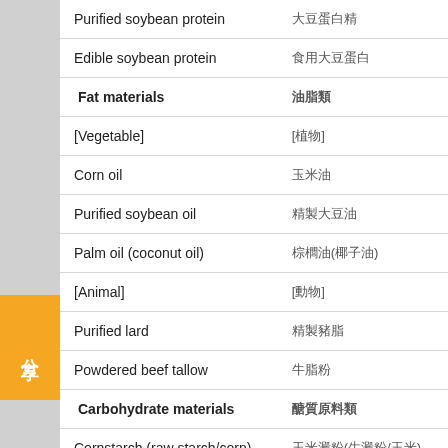| English | Chinese |
| --- | --- |
| Purified soybean protein | 大豆蛋白精 |
| Edible soybean protein | 食用大豆蛋白 |
| Fat materials | 油脂類 |
| [Vegetable] | [植物] |
| Corn oil | 玉米油 |
| Purified soybean oil | 精製大豆油 |
| Palm oil (coconut oil) | 棕櫚油(椰子油) |
| [Animal] | [動物] |
| Purified lard | 精製豬脂 |
| Powdered beef tallow | 牛脂粉 |
| Carbohydrate materials | 醣質原料類 |
| Cornstarch (raw starch/corn) | 玉米澱粉(生澱粉/玉米) |
| Granulated sugar (sucrose) | 砂糖(蔗糖) |